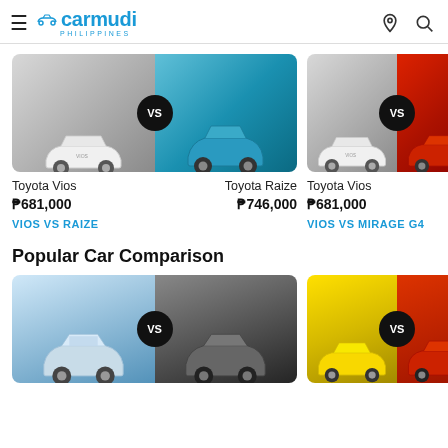carmudi PHILIPPINES
[Figure (photo): Toyota Vios vs Toyota Raize comparison card with VS badge]
Toyota Vios   Toyota Raize
₱681,000   ₱746,000
VIOS VS RAIZE
[Figure (photo): Toyota Vios vs Mitsubishi Mirage G4 comparison card with VS badge]
Toyota Vios   Mitsu...
₱681,000
VIOS VS MIRAGE G4
Popular Car Comparison
[Figure (photo): Mitsubishi Montero Sport vs Toyota Fortuner comparison card with VS badge]
[Figure (photo): Toyota Wigo vs Honda Brio comparison card with VS badge]